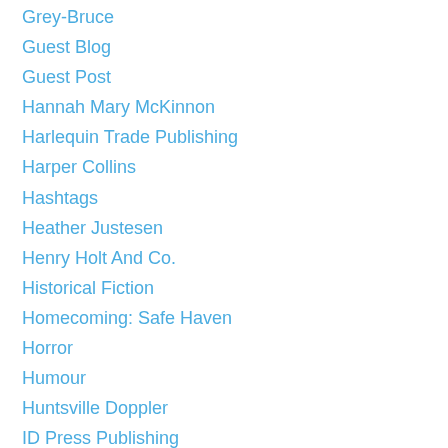Grey-Bruce
Guest Blog
Guest Post
Hannah Mary McKinnon
Harlequin Trade Publishing
Harper Collins
Hashtags
Heather Justesen
Henry Holt And Co.
Historical Fiction
Homecoming: Safe Haven
Horror
Humour
Huntsville Doppler
ID Press Publishing
Inspiration
Instagram
International
Interview
James Dewar
James McGowan